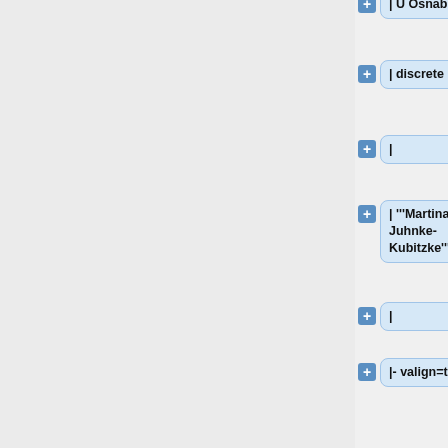+ | U Osnabruck
+ | discrete (W2)
+ |
+ | '''Martina Juhnke-Kubitzke'''
+ |
+ |- valign=top
+ | U Paderborn
+ | applied anal (W3)
+ |
+ | "<s>kutyniok</s>", "<s>feischl</s>" (2),